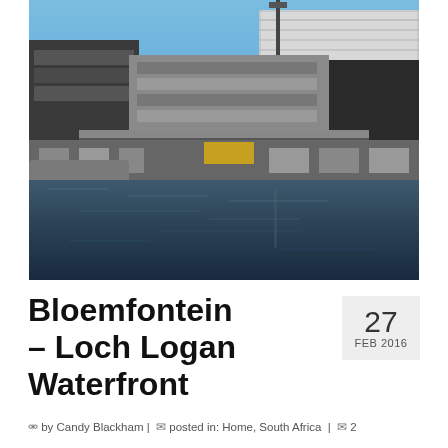[Figure (photo): Photograph of the Bloemfontein Loch Logan Waterfront showing commercial buildings, a large stadium in the background, and a body of dark water in the foreground, taken on a clear sunny day.]
Bloemfontein – Loch Logan Waterfront
27 FEB 2016
by Candy Blackham | posted in: Home, South Africa | 2